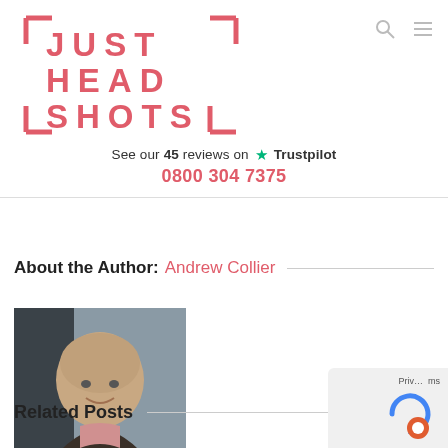[Figure (logo): Just Head Shots logo — large red/coral bracketed text spelling JUST HEAD SHOTS with camera-bracket corners]
See our 45 reviews on ★ Trustpilot
0800 304 7375
About the Author: Andrew Collier
[Figure (photo): Headshot photo of Andrew Collier — middle-aged bald man smiling, wearing a leather jacket]
Related Posts